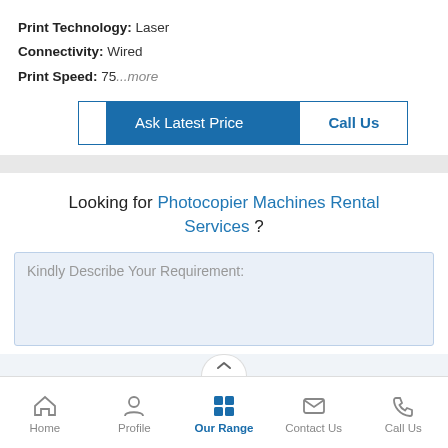Print Technology: Laser
Connectivity: Wired
Print Speed: 75...more
Ask Latest Price
Call Us
Looking for Photocopier Machines Rental Services ?
Kindly Describe Your Requirement:
Home | Profile | Our Range | Contact Us | Call Us